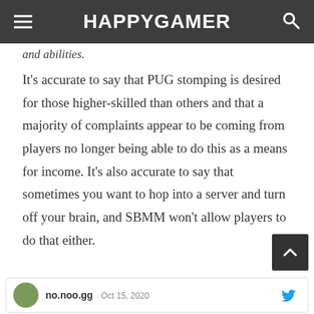HAPPYGAMER
and abilities.
It's accurate to say that PUG stomping is desired for those higher-skilled than others and that a majority of complaints appear to be coming from players no longer being able to do this as a means for income. It's also accurate to say that sometimes you want to hop into a server and turn off your brain, and SBMM won't allow players to do that either.